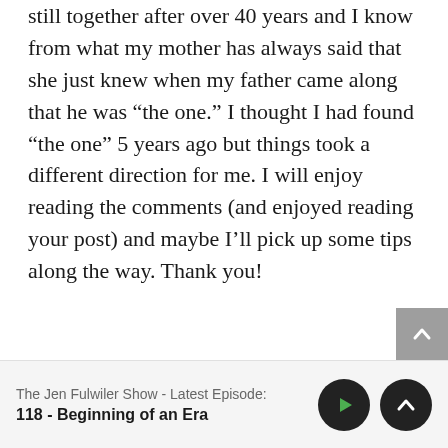my life and still single. But my parents are still together after over 40 years and I know from what my mother has always said that she just knew when my father came along that he was “the one.” I thought I had found “the one” 5 years ago but things took a different direction for me. I will enjoy reading the comments (and enjoyed reading your post) and maybe I’ll pick up some tips along the way. Thank you!
The Jen Fulwiler Show - Latest Episode: 118 - Beginning of an Era